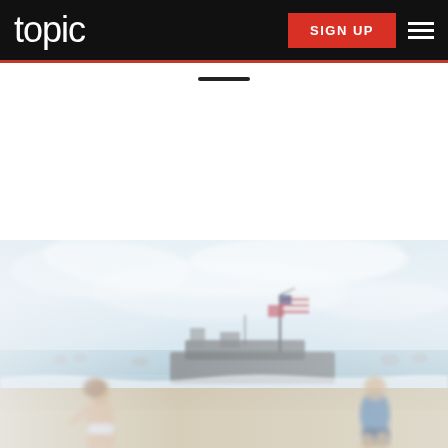topic — navigation bar with SIGN UP button and hamburger menu
[Figure (photo): A blurry beach scene with two people standing in shallow surf. In the background, a large boat/vessel is beached with an American flag flying from a pole. The sky is hazy and bright. Sandy beach in the foreground.]